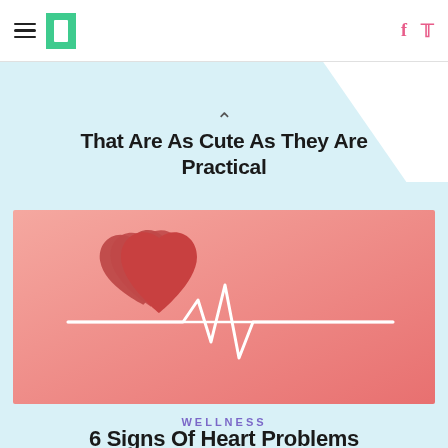HuffPost navigation with hamburger menu, logo, facebook and twitter icons
^
That Are As Cute As They Are Practical
[Figure (illustration): Illustration of stacked red/coral heart shapes with a white ECG/heartbeat line across them, on a pink-coral gradient background. Health/wellness themed image.]
WELLNESS
6 Signs Of Heart Problems That Have Nothing To Do